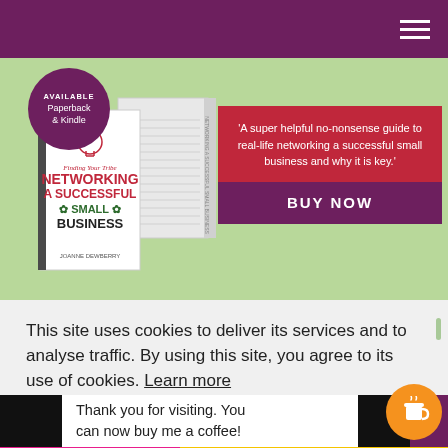[Figure (photo): Book cover for 'Networking A Successful Small Business' by Joanne Dewberry, shown with a mirrored/flipped version behind it, on a green background. A purple circular badge reads 'AVAILABLE Paperback & Kindle'.]
'A super helpful no-nonsense guide to real-life networking a successful small business and why it is key.'
BUY NOW
This site uses cookies to deliver its services and to analyse traffic. By using this site, you agree to its use of cookies. Learn more
Thank you for visiting. You can now buy me a coffee!